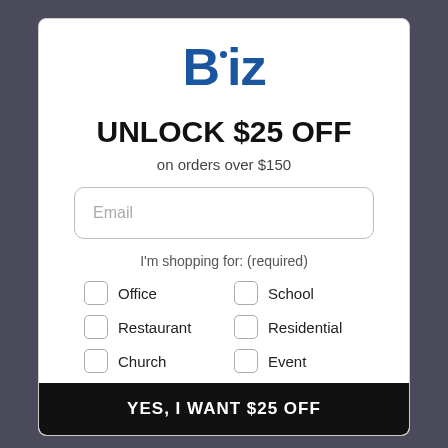[Figure (logo): Biz logo in bold blue text with a dot above the letter i]
UNLOCK $25 OFF
on orders over $150
Email (input field placeholder)
I'm shopping for: (required)
Office
School
Restaurant
Residential
Church
Event
YES, I WANT $25 OFF